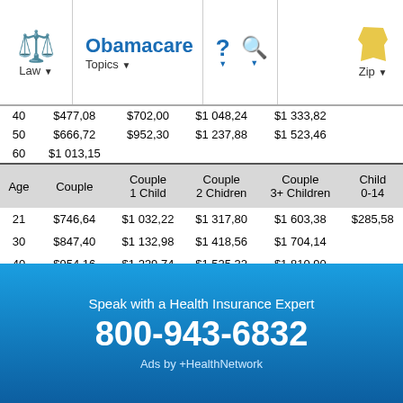[Figure (screenshot): Website navigation bar with Law, Obamacare Topics, help/search icons, and Indiana state Zip selector]
| Age | Couple | Couple 1 Child | Couple 2 Children | Couple 3+ Children | Child 0-14 |
| --- | --- | --- | --- | --- | --- |
| 40 | $477,08 | $702,00 | $1 048,24 | $1 333,82 |  |
| 50 | $666,72 | $952,30 | $1 237,88 | $1 523,46 |  |
| 60 | $1 013,15 |  |  |  |  |
| 21 | $746,64 | $1 032,22 | $1 317,80 | $1 603,38 | $285,58 |
| 30 | $847,40 | $1 132,98 | $1 418,56 | $1 704,14 |  |
| 40 | $954,16 | $1 239,74 | $1 525,32 | $1 810,90 |  |
| 50 | $1 333,44 | $1 619,02 | $1 904,60 | $2 190,18 |  |
| 60 | $2 026,30 |  |  |  |  |
Speak with a Health Insurance Expert
800-943-6832
Ads by +HealthNetwork